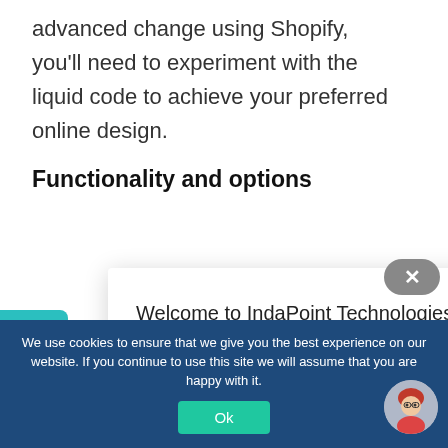advanced change using Shopify, you'll need to experiment with the liquid code to achieve your preferred online design.
Functionality and options
[Figure (screenshot): Teal sidebar element partially visible on the left side of the page]
[Figure (screenshot): Chat modal popup with text: Welcome to IndaPoint Technologies, your app development partner. Gray close/dismiss button (X) in top right corner.]
We use cookies to ensure that we give you the best experience on our website. If you continue to use this site we will assume that you are happy with it.
[Figure (photo): Small circular avatar photo of a woman with red hair, bottom right of cookie bar]